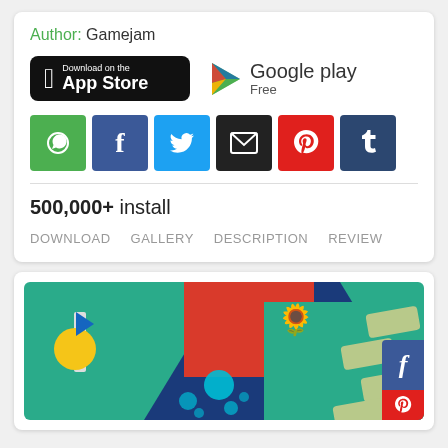Author: Gamejam
[Figure (screenshot): App Store download badge (black, rounded rectangle) and Google Play badge with triangle logo and 'Free' label]
[Figure (screenshot): Social share icons: WhatsApp (green), Facebook (blue), Twitter (blue), Email (black), Pinterest (red), Tumblr (dark blue)]
500,000+ install
DOWNLOAD   GALLERY   DESCRIPTION   REVIEW
[Figure (screenshot): Game screenshot showing a colorful 3D mobile game with a blue ball on a dark blue path, stepping stones on the right, a red wall, teal background, yellow coin launcher on left, and a flower-like obstacle. Facebook and Pinterest social share buttons visible at bottom right.]